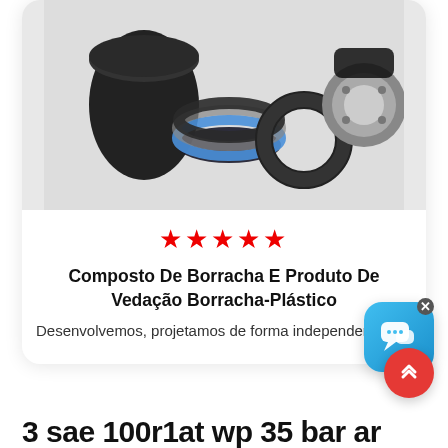[Figure (photo): Photo of rubber compound and sealing products including rubber rolls, O-rings, and a metal fitting/connector on a white background]
★★★★★
Composto De Borracha E Produto De Vedação Borracha-Plástico
Desenvolvemos, projetamos de forma independente...
[Figure (other): Blue chat bubble icon with X close button]
[Figure (other): Red scroll-to-top button with chevron icon]
3 sae 100r1at wp 35 bar ar